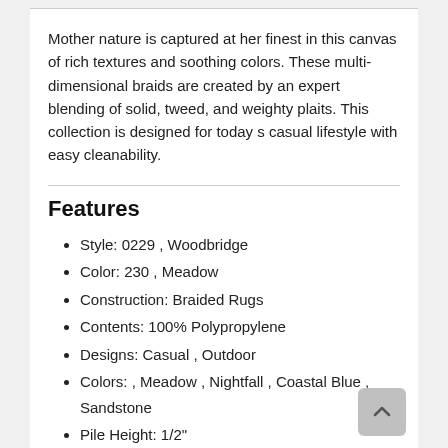Mother nature is captured at her finest in this canvas of rich textures and soothing colors. These multi-dimensional braids are created by an expert blending of solid, tweed, and weighty plaits. This collection is designed for today s casual lifestyle with easy cleanability.
Features
Style: 0229 , Woodbridge
Color: 230 , Meadow
Construction: Braided Rugs
Contents: 100% Polypropylene
Designs: Casual , Outdoor
Colors: , Meadow , Nightfall , Coastal Blue , Sandstone
Pile Height: 1/2"